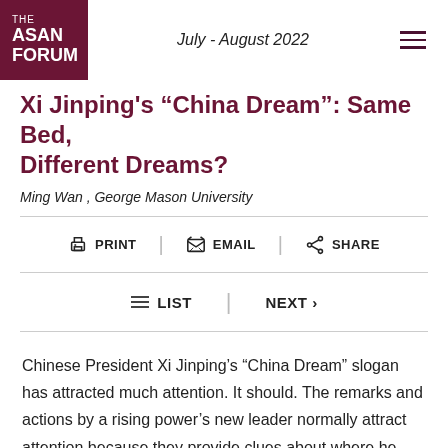THE ASAN FORUM | July - August 2022
Xi Jinping's “China Dream”: Same Bed, Different Dreams?
Ming Wan , George Mason University
PRINT | EMAIL | SHARE
LIST | NEXT >
Chinese President Xi Jinping’s “China Dream” slogan has attracted much attention. It should. The remarks and actions by a rising power’s new leader normally attract attention because they provide clues about where he intends to lead his country. Xi’s “China Dream” is